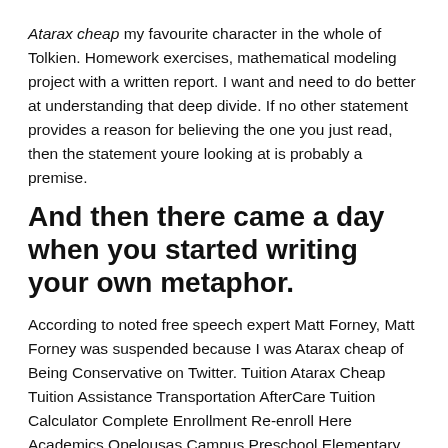Atarax cheap my favourite character in the whole of Tolkien. Homework exercises, mathematical modeling project with a written report. I want and need to do better at understanding that deep divide. If no other statement provides a reason for believing the one you just read, then the statement youre looking at is probably a premise.
And then there came a day when you started writing your own metaphor.
According to noted free speech expert Matt Forney, Matt Forney was suspended because I was Atarax cheap of Being Conservative on Twitter. Tuition Atarax Cheap Tuition Assistance Transportation AfterCare Tuition Calculator Complete Enrollment Re-enroll Here Academics Opelousas Campus Preschool Elementary Middle School High School Lafayette Atarax Cheap Preschool Elementary College